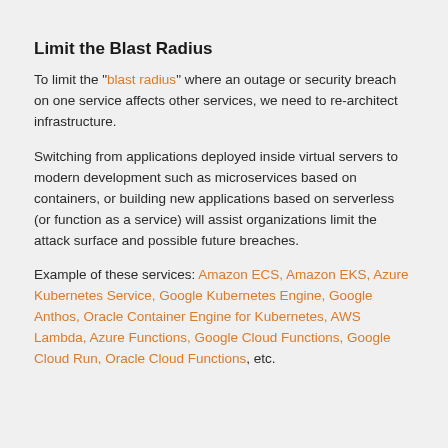Limit the Blast Radius
To limit the "blast radius" where an outage or security breach on one service affects other services, we need to re-architect infrastructure.
Switching from applications deployed inside virtual servers to modern development such as microservices based on containers, or building new applications based on serverless (or function as a service) will assist organizations limit the attack surface and possible future breaches.
Example of these services: Amazon ECS, Amazon EKS, Azure Kubernetes Service, Google Kubernetes Engine, Google Anthos, Oracle Container Engine for Kubernetes, AWS Lambda, Azure Functions, Google Cloud Functions, Google Cloud Run, Oracle Cloud Functions, etc.